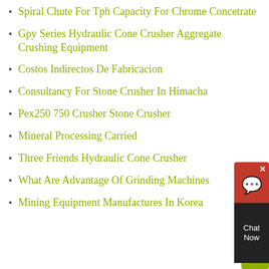Spiral Chute For Tph Capacity For Chrome Concetrate
Gpy Series Hydraulic Cone Crusher Aggregate Crushing Equipment
Costos Indirectos De Fabricacion
Consultancy For Stone Crusher In Himacha
Pex250 750 Crusher Stone Crusher
Mineral Processing Carried
Three Friends Hydraulic Cone Crusher
What Are Advantage Of Grinding Machines
Mining Equipment Manufactures In Korea